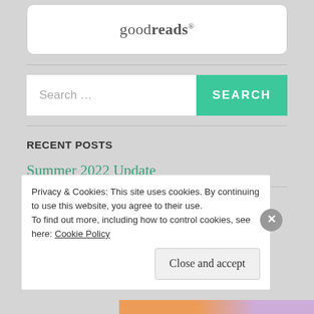[Figure (logo): Goodreads logo in a rounded white box]
Search ...
SEARCH
RECENT POSTS
Summer 2022 Update
Privacy & Cookies: This site uses cookies. By continuing to use this website, you agree to their use.
To find out more, including how to control cookies, see here: Cookie Policy
Close and accept